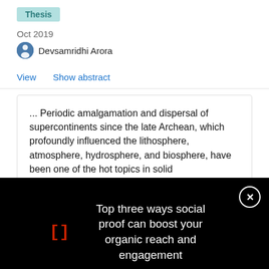Thesis
Oct 2019
Devsamridhi Arora
View   Show abstract
... Periodic amalgamation and dispersal of supercontinents since the late Archean, which profoundly influenced the lithosphere, atmosphere, hydrosphere, and biosphere, have been one of the hot topics in solid
[Figure (screenshot): Dark overlay popup with red bracket symbol [] on the left, white text reading 'Top three ways social proof can boost your organic reach and engagement', and a close button (circled X) in the top right corner]
[Figure (photo): Advertisement from Applied Biosystems showing an infinity symbol logo on dark blue background]
applied biosystems
Free T-Shirt anyone?